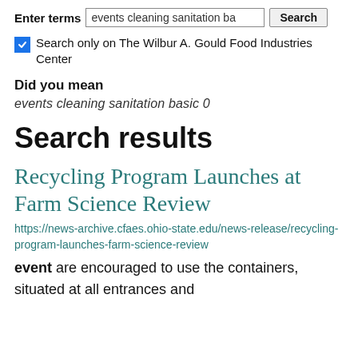Enter terms  events cleaning sanitation ba  Search
Search only on The Wilbur A. Gould Food Industries Center
Did you mean
events cleaning sanitation basic 0
Search results
Recycling Program Launches at Farm Science Review
https://news-archive.cfaes.ohio-state.edu/news-release/recycling-program-launches-farm-science-review
event are encouraged to use the containers, situated at all entrances and